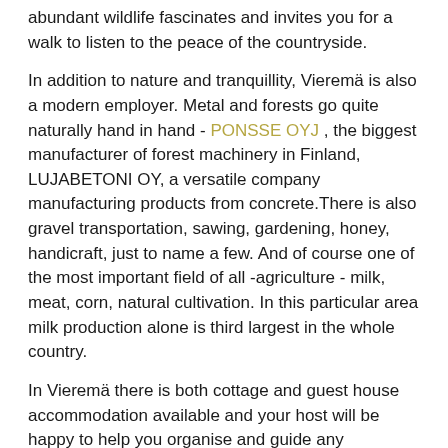abundant wildlife fascinates and invites you for a walk to listen to the peace of the countryside.
In addition to nature and tranquillity, Vieremä is also a modern employer. Metal and forests go quite naturally hand in hand - PONSSE OYJ , the biggest manufacturer of forest machinery in Finland,  LUJABETONI OY, a versatile company manufacturing products from concrete.There is also gravel transportation, sawing, gardening, honey, handicraft, just to name a few. And of course one of the most important field of all -agriculture - milk, meat, corn, natural cultivation. In this particular area milk production alone is third largest in the whole country.
In Vieremä there is both cottage and guest house accommodation available and your host will be happy to help you organise and guide any excursions in the area.
The centre of quietness in Kyrönniemi is a place everyone should visit - at the same time it is a visit into your own body and mind. You'll find further information about different events, concerts or, for instance, popular Vieremä horse races from your host or local tourist information centre.
Contacts: